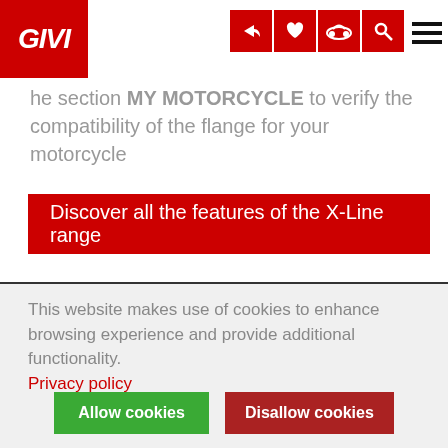[Figure (logo): GIVI logo in white on red background, top left navigation bar with share, heart, motorcycle, and search icons on red squares, and hamburger menu]
he section MY MOTORCYCLE to verify the compatibility of the flange for your motorcycle
Discover all the features of the X-Line range
GALLERY
This website makes use of cookies to enhance browsing experience and provide additional functionality.
Privacy policy
Allow cookies
Disallow cookies